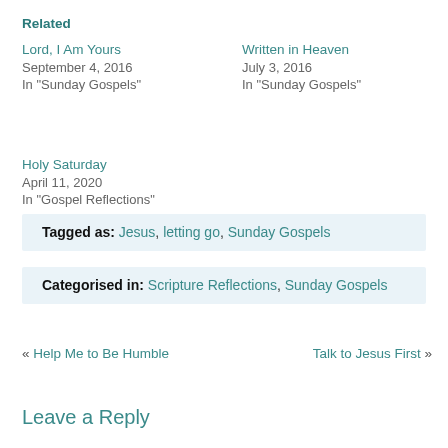Related
Lord, I Am Yours
September 4, 2016
In "Sunday Gospels"
Written in Heaven
July 3, 2016
In "Sunday Gospels"
Holy Saturday
April 11, 2020
In "Gospel Reflections"
Tagged as: Jesus, letting go, Sunday Gospels
Categorised in: Scripture Reflections, Sunday Gospels
« Help Me to Be Humble    Talk to Jesus First »
Leave a Reply